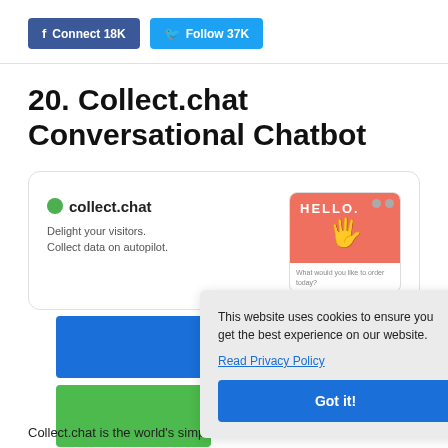f Connect 18K  Follow 37K
20. Collect.chat Conversational Chatbot
[Figure (screenshot): Screenshot of collect.chat website showing brand logo, tagline 'Delight your visitors. Collect data on autopilot.' and a HELLO chatbot widget preview]
[Figure (screenshot): Cookie consent overlay: 'This website uses cookies to ensure you get the best experience on our website. Read Privacy Policy. Got it!' button]
Collect.chat is the world's simplest chatbot builder. You